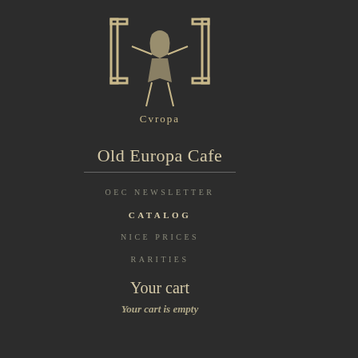[Figure (logo): Old Europa Cafe logo — stylized figure with Cyrillic-like text 'Cvropa']
Old Europa Cafe
OEC NEWSLETTER
CATALOG
NICE PRICES
RARITIES
Your cart
Your cart is empty
what are you looking for?
MLEHST
Another Cross to Bear
[Figure (photo): Album cover with RARE ribbon banner — abstract collage in gold, brown and black tones]
CDR  14.00 €
MOUNTAIN OF THE CARDIOID SNAKE [Massimo Cuomo]
Mountain of the Cardioid